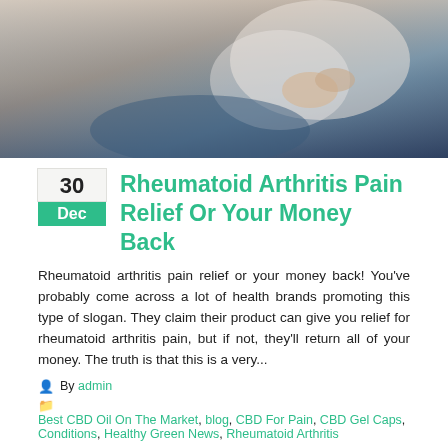[Figure (photo): Hero image of a person holding their wrist/hand, suggesting arthritis pain, with blue and neutral tones]
Rheumatoid Arthritis Pain Relief Or Your Money Back
Rheumatoid arthritis pain relief or your money back! You've probably come across a lot of health brands promoting this type of slogan. They claim their product can give you relief for rheumatoid arthritis pain, but if not, they'll return all of your money. The truth is that this is a very...
By admin
Best CBD Oil On The Market, blog, CBD For Pain, CBD Gel Caps, Conditions, Healthy Green News, Rheumatoid Arthritis
#HealthyGreenCBDOil, benifits of CBD oil, CBD Cream For Pain, CBD for pain, Rheumatoid Arthritis
22 Comments
READ MORE....